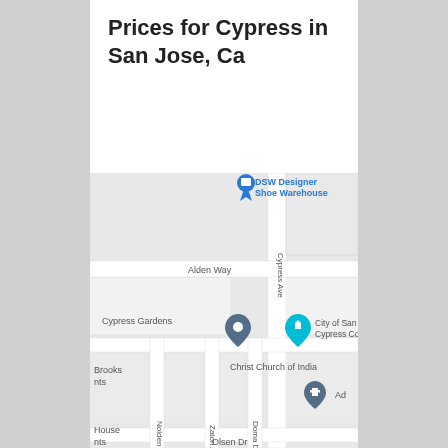Prices for Cypress in San Jose, Ca
[Figure (map): Google Maps view showing Cypress Avenue area in San Jose, CA. Visible landmarks include DSW Designer Shoe Warehouse, Cypress Gardens, City of San Jose Cypress Community Center, Christ Church of India, Brooks Apartments. Streets visible include Cypress Ave, Alden Way, Nolden Ave, Zaton Ave, Doma Dr, Olsen Dr.]